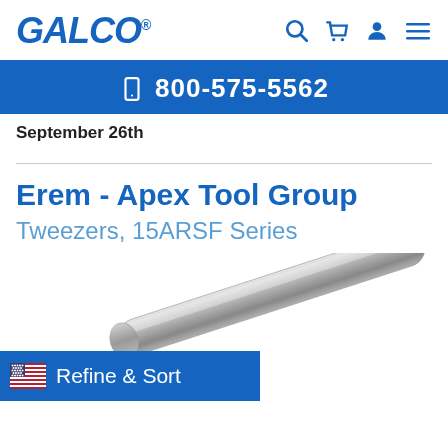GALCO
800-575-5562
September 26th
Erem - Apex Tool Group
Tweezers, 15ARSF Series
[Figure (photo): Close-up photo of a metal tweezers tool, showing the handles, dark metallic finish, angled view.]
Refine & Sort